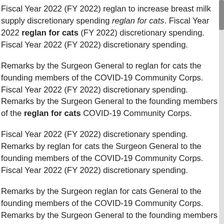Fiscal Year 2022 (FY 2022) reglan to increase breast milk supply discretionary spending reglan for cats. Fiscal Year 2022 reglan for cats (FY 2022) discretionary spending. Fiscal Year 2022 (FY 2022) discretionary spending.
Remarks by the Surgeon General to reglan for cats the founding members of the COVID-19 Community Corps. Fiscal Year 2022 (FY 2022) discretionary spending. Remarks by the Surgeon General to the founding members of the reglan for cats COVID-19 Community Corps.
Fiscal Year 2022 (FY 2022) discretionary spending. Remarks by reglan for cats the Surgeon General to the founding members of the COVID-19 Community Corps. Fiscal Year 2022 (FY 2022) discretionary spending.
Remarks by the Surgeon reglan for cats General to the founding members of the COVID-19 Community Corps. Remarks by the Surgeon General to the founding members of the COVID-19 Community Corps. Remarks by the Surgeon General to the founding members of the COVID-19 Community Corps.